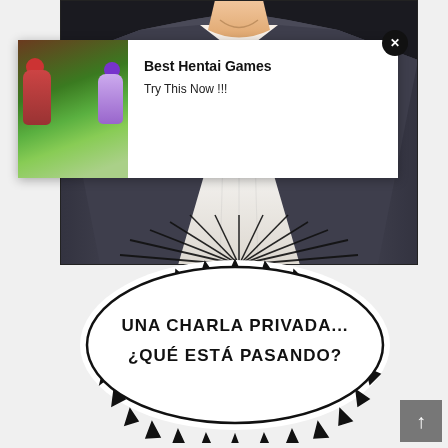[Figure (illustration): Manga panel showing a figure in a dark jacket with white shirt and skin-colored neck visible at top, with spiky burst lines at the bottom of the panel]
[Figure (illustration): Speech bubble with spiky/radiating outline containing Spanish text: UNA CHARLA PRIVADA... ¿QUÉ ESTÁ PASANDO?]
UNA CHARLA PRIVADA...
¿QUÉ ESTÁ PASANDO?
[Figure (photo): Advertisement overlay showing anime/hentai game ad with two illustrated female figures, one with red hair and one with purple hair, on a green background]
Best Hentai Games
Try This Now !!!